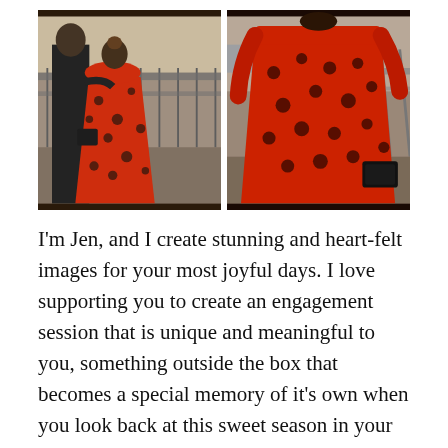[Figure (photo): Two side-by-side photos of a couple. Left photo: a man in black and a woman in a red floral dress walking together on a bridge or walkway with railings. Right photo: close-up back view of the woman in the red floral dress holding a black clutch purse.]
I'm Jen, and I create stunning and heart-felt images for your most joyful days. I love supporting you to create an engagement session that is unique and meaningful to you, something outside the box that becomes a special memory of it's own when you look back at this sweet season in your lives. I specialize in weddings and sessions in Colorado,